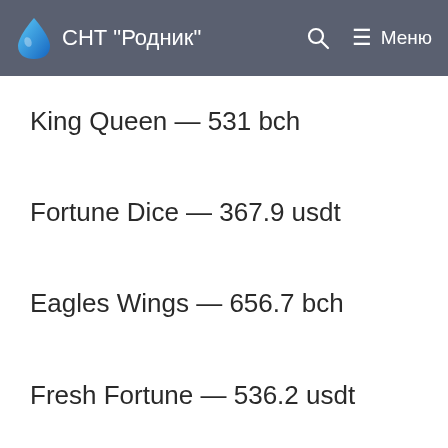СНТ "Родник"
King Queen — 531 bch
Fortune Dice — 367.9 usdt
Eagles Wings — 656.7 bch
Fresh Fortune — 536.2 usdt